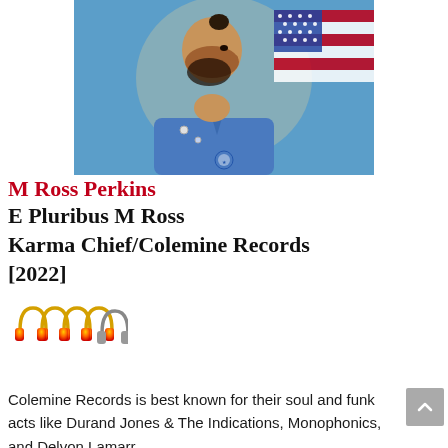[Figure (photo): Album cover art showing a bearded man with a bun hairstyle wearing a blue shirt with pins/buttons, photographed in profile against a blue background with an American flag, inside a circular vignette. A small circular logo is visible at the bottom center.]
M Ross Perkins
E Pluribus M Ross
Karma Chief/Colemine Records
[2022]
[Figure (illustration): Five headphone emoji icons in a row: four with red/orange/yellow gradient colors and one gray, representing a rating of 4.5 out of 5 headphones.]
Colemine Records is best known for their soul and funk acts like Durand Jones & The Indications, Monophonics, and Delvon Lamarr